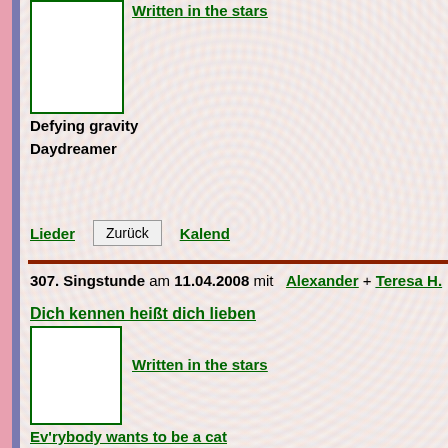[Figure (screenshot): Top album/song image placeholder with green border]
Written in the stars
Defying gravity
Daydreamer
Lieder  Zurück  Kalend...
307. Singstunde am 11.04.2008 mit  Alexander + Teresa H.
Dich kennen heißt dich lieben
[Figure (photo): Album cover image placeholder with green border]
Written in the stars
Ev'rybody wants to be a cat
Part of your world
[Figure (photo): Album cover image placeholder with green border]
Colors of the wind
God help the outcasts
Start of something new
Blame it on the moon  (Teresa)